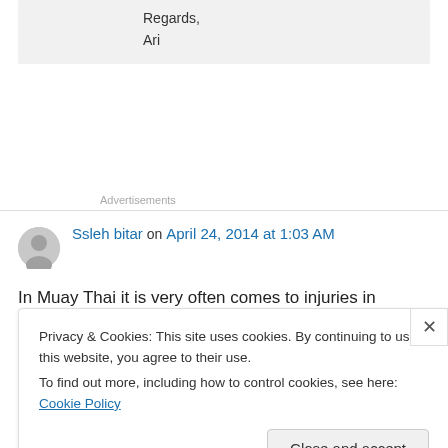Regards,
Ari
Advertisements
Ssleh bitar on April 24, 2014 at 1:03 AM
In Muay Thai it is very often comes to injuries in
Privacy & Cookies: This site uses cookies. By continuing to use this website, you agree to their use. To find out more, including how to control cookies, see here: Cookie Policy
Close and accept